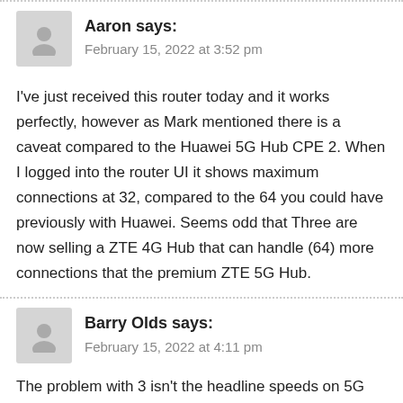Aaron says: February 15, 2022 at 3:52 pm
I've just received this router today and it works perfectly, however as Mark mentioned there is a caveat compared to the Huawei 5G Hub CPE 2. When I logged into the router UI it shows maximum connections at 32, compared to the 64 you could have previously with Huawei. Seems odd that Three are now selling a ZTE 4G Hub that can handle (64) more connections that the premium ZTE 5G Hub.
Barry Olds says: February 15, 2022 at 4:11 pm
The problem with 3 isn't the headline speeds on 5G